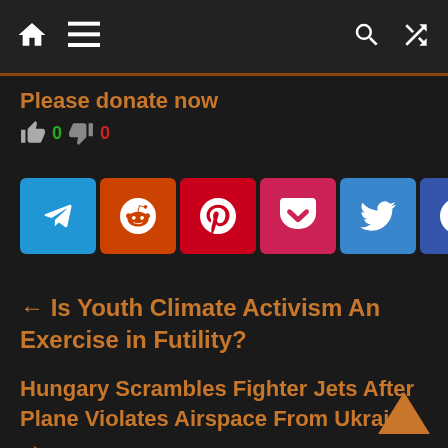Navigation bar with home, menu, search, and shuffle icons
Please donate now
👍 0  👎 0
[Figure (other): Social share buttons row: Telegram, Reddit, Pinterest, Pocket, Twitter, Facebook, WhatsApp, LinkedIn, Email, SMS]
← Is Youth Climate Activism An Exercise in Futility?
Hungary Scrambles Fighter Jets After Plane Violates Airspace From Ukraine →